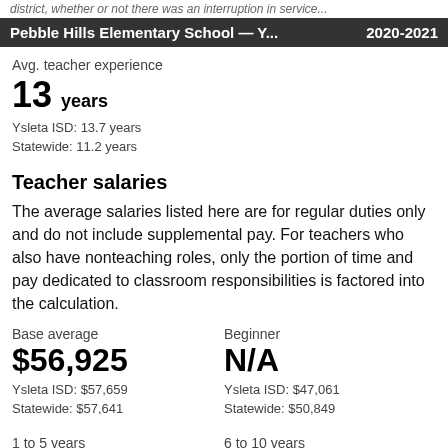district, whether or not there was an interruption in service...
Pebble Hills Elementary School — Y...    2020-2021
Avg. teacher experience
13 years
Ysleta ISD: 13.7 years
Statewide: 11.2 years
Teacher salaries
The average salaries listed here are for regular duties only and do not include supplemental pay. For teachers who also have nonteaching roles, only the portion of time and pay dedicated to classroom responsibilities is factored into the calculation.
Base average
$56,925
Ysleta ISD: $57,659
Statewide: $57,641
Beginner
N/A
Ysleta ISD: $47,061
Statewide: $50,849
1 to 5 years
6 to 10 years